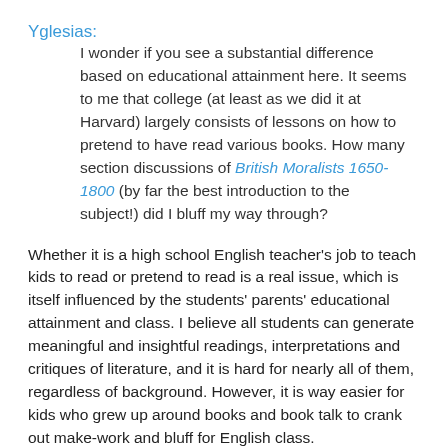Yglesias:
I wonder if you see a substantial difference based on educational attainment here. It seems to me that college (at least as we did it at Harvard) largely consists of lessons on how to pretend to have read various books. How many section discussions of British Moralists 1650-1800 (by far the best introduction to the subject!) did I bluff my way through?
Whether it is a high school English teacher's job to teach kids to read or pretend to read is a real issue, which is itself influenced by the students' parents' educational attainment and class. I believe all students can generate meaningful and insightful readings, interpretations and critiques of literature, and it is hard for nearly all of them, regardless of background. However, it is way easier for kids who grew up around books and book talk to crank out make-work and bluff for English class.
The mere presence of AP classes allows parents the impression...